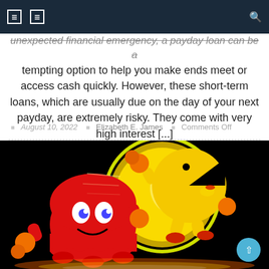Navigation bar with menu icons and search
unexpected financial emergency, a payday loan can be a tempting option to help you make ends meet or access cash quickly. However, these short-term loans, which are usually due on the day of your next payday, are extremely risky. They come with very high interest [...]
August 10, 2022  Elizabeth E. James  Comments Off
[Figure (illustration): Pac-Man and a red ghost character (Blinky) illustrated in a retro arcade game style against a black background with colorful neon glow effects. The yellow Pac-Man character is shown jumping/running and the red ghost character is shown below-left.]